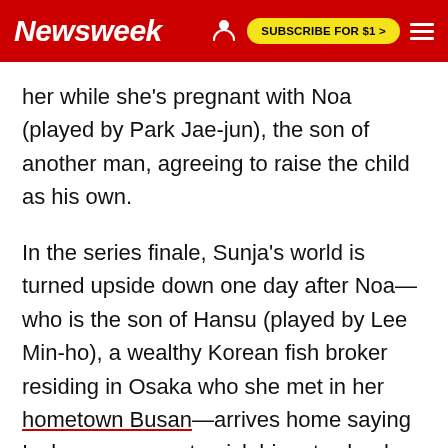Newsweek | SUBSCRIBE FOR $1 >
her while she's pregnant with Noa (played by Park Jae-jun), the son of another man, agreeing to raise the child as his own.
In the series finale, Sunja's world is turned upside down one day after Noa—who is the son of Hansu (played by Lee Min-ho), a wealthy Korean fish broker residing in Osaka who she met in her hometown Busan—arrives home saying Isak never came to pick him at school that day.